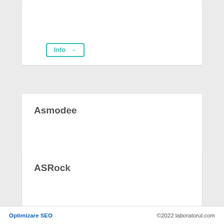Info →
Asmodee
Info →
ASRock
Info →
Optimizare SEO   ©2022 laboratorul.com